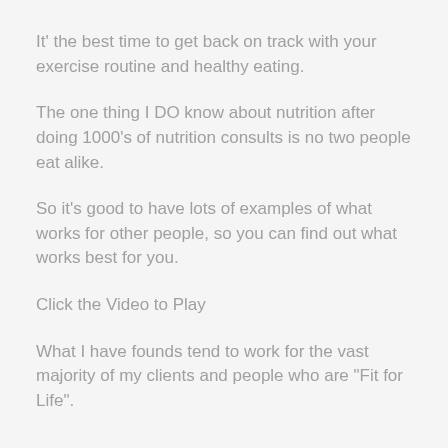It' the best time to get back on track with your exercise routine and healthy eating.
The one thing I DO know about nutrition after doing 1000's of nutrition consults is no two people eat alike.
So it's good to have lots of examples of what works for other people, so you can find out what works best for you.
Click the Video to Play
What I have founds tend to work for the vast majority of my clients and people who are "Fit for Life".